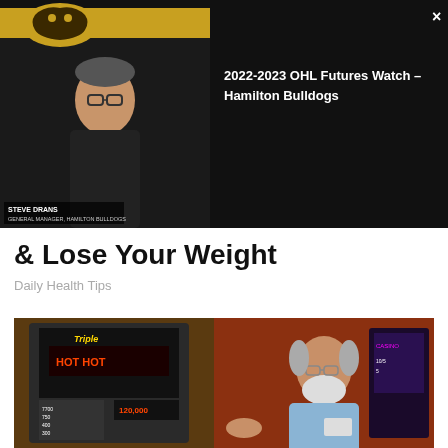[Figure (screenshot): Video thumbnail showing a man in a black shirt in front of a Hamilton Bulldogs background. Right side shows black panel with text '2022-2023 OHL Futures Watch – Hamilton Bulldogs' and a close button X. Name bar at bottom reads 'STEVE DRANS' with subtitle text.]
& Lose Your Weight
Daily Health Tips
[Figure (photo): Photo of an older man with white beard and glasses wearing a light blue shirt, standing next to a Triple Hot slot machine in a casino environment.]